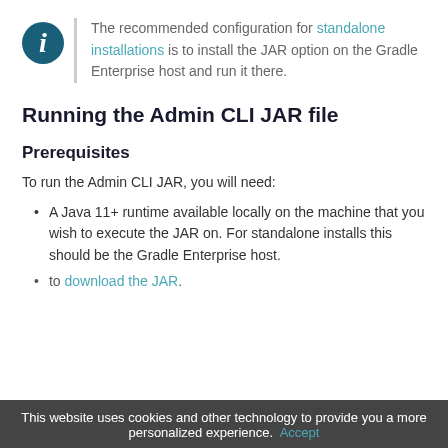The recommended configuration for standalone installations is to install the JAR option on the Gradle Enterprise host and run it there.
Running the Admin CLI JAR file
Prerequisites
To run the Admin CLI JAR, you will need:
A Java 11+ runtime available locally on the machine that you wish to execute the JAR on. For standalone installs this should be the Gradle Enterprise host.
to download the JAR.
This website uses cookies and other technology to provide you a more personalized experience. Accept